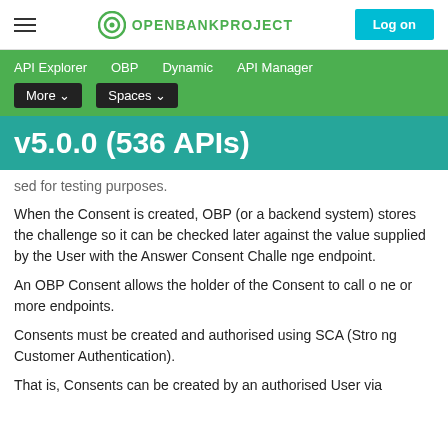OPENBANKPROJECT | Log on
API Explorer   OBP   Dynamic   API Manager   More   Spaces
v5.0.0 (536 APIs)
sed for testing purposes.
When the Consent is created, OBP (or a backend system) stores the challenge so it can be checked later against the value supplied by the User with the Answer Consent Challenge endpoint.
An OBP Consent allows the holder of the Consent to call one or more endpoints.
Consents must be created and authorised using SCA (Strong Customer Authentication).
That is, Consents can be created by an authorised User via